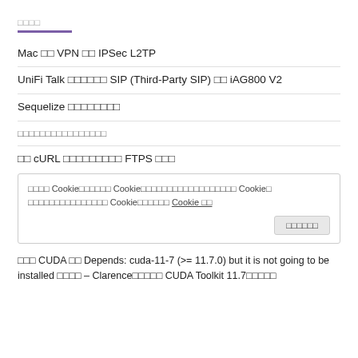□□□□
Mac □□ VPN □□ IPSec L2TP
UniFi Talk □□□□□□ SIP (Third-Party SIP) □□ iAG800 V2
Sequelize □□□□□□□□
□□□□□□□□□□□□□□□□
□□ cURL □□□□□□□□□ FTPS □□□
□□□□ Cookie□□□□□□ Cookie□□□□□□□□□□□□□□□□□□ Cookie□ □□□□□□□□□□□□□□□ Cookie□□□□□□ Cookie □□
□□□□□□
□□□ CUDA □□ Depends: cuda-11-7 (>= 11.7.0) but it is not going to be installed □□□□ – Clarence□□□□□ CUDA Toolkit 11.7□□□□□